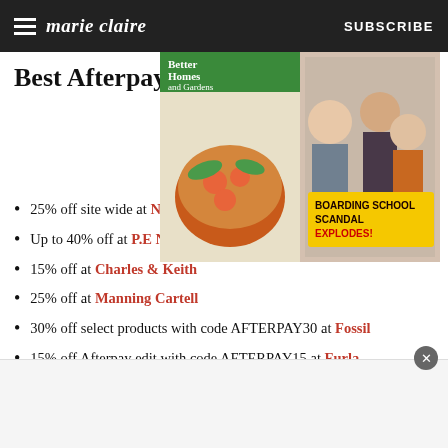marie claire | SUBSCRIBE
Best Afterpay Fashion Deals
[Figure (photo): Magazine covers ad banner including Better Homes and Gardens and a celebrity gossip magazine with headline 'BOARDING SCHOOL SCANDAL EXPLODES!']
25% off site wide at Nine West
Up to 40% off at P.E Nation
15% off at Charles & Keith
25% off at Manning Cartell
30% off select products with code AFTERPAY30 at Fossil
15% off Afterpay edit with code AFTERPAY15 at Furla
Up to 30% off selected fashion, shoes,